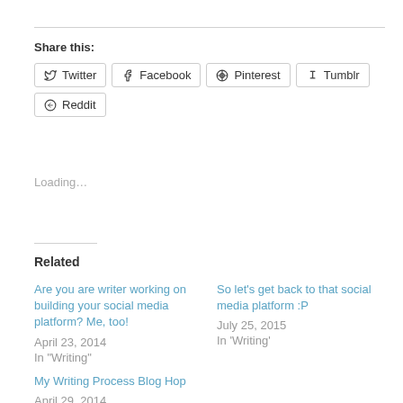Share this:
Twitter | Facebook | Pinterest | Tumblr | Reddit
Loading...
Related
Are you are writer working on building your social media platform? Me, too!
April 23, 2014
In "Writing"
So let’s get back to that social media platform :P
July 25, 2015
In ‘Writing’
My Writing Process Blog Hop
April 29, 2014